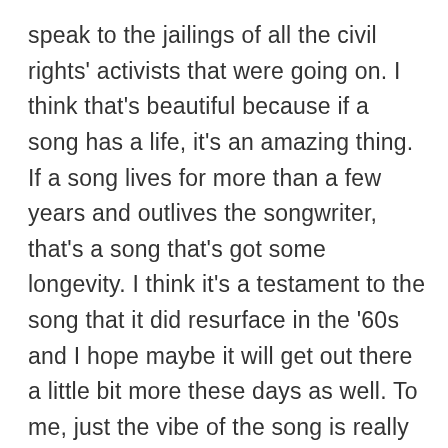speak to the jailings of all the civil rights' activists that were going on. I think that's beautiful because if a song has a life, it's an amazing thing. If a song lives for more than a few years and outlives the songwriter, that's a song that's got some longevity. I think it's a testament to the song that it did resurface in the '60s and I hope maybe it will get out there a little bit more these days as well. To me, just the vibe of the song is really beautiful. There's a sense of this character, who's never done any harm to anybody and not trying to cause anybody any trouble, just getting thrown in jail and everybody's just going wild over him. I find that